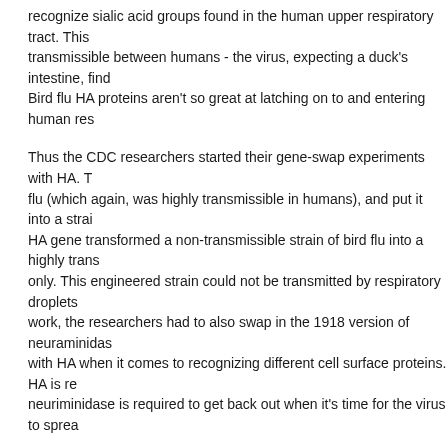recognize sialic acid groups found in the human upper respiratory tract. This makes bird flu poorly transmissible between humans - the virus, expecting a duck's intestine, finds itself in the wrong place. Bird flu HA proteins aren't so great at latching on to and entering human res
Thus the CDC researchers started their gene-swap experiments with HA. They took the HA from the 1918 flu (which again, was highly transmissible in humans), and put it into a strain of bird flu. The 1918 HA gene transformed a non-transmissible strain of bird flu into a highly transmissible one - but only. This engineered strain could not be transmitted by respiratory droplets. To get droplet transmission to work, the researchers had to also swap in the 1918 version of neuraminidase, the protein that works with HA when it comes to recognizing different cell surface proteins. HA is required to get in, and neuriminidase is required to get back out when it's time for the virus to sprea
So, HA is part of the story, but it wasn't enough to turn a strain of bird flu into a highly transmissible human flu. After HA, the researchers couldn't figure out which gene to try next, so they started trying them at random. Using the random strategy, they struck gold.
Besides HA and its conjugate neuraminidase, only one other gene was required to create a virus - one that was highly transmissible in ferrets, by both direct contact and airbo version of a gene called PB2, together with the 1918 HA and neuraminidase strain. (Another technical side note - some previous research has also impli